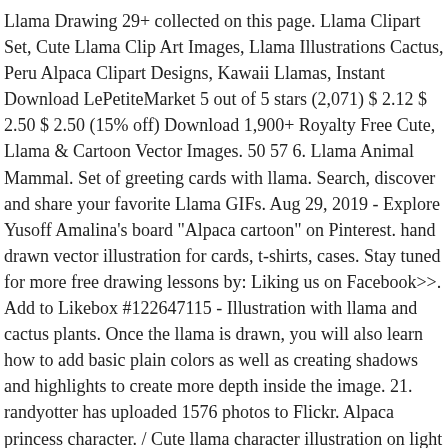Llama Drawing 29+ collected on this page. Llama Clipart Set, Cute Llama Clip Art Images, Llama Illustrations Cactus, Peru Alpaca Clipart Designs, Kawaii Llamas, Instant Download LePetiteMarket 5 out of 5 stars (2,071) $ 2.12 $ 2.50 $ 2.50 (15% off) Download 1,900+ Royalty Free Cute, Llama & Cartoon Vector Images. 50 57 6. Llama Animal Mammal. Set of greeting cards with llama. Search, discover and share your favorite Llama GIFs. Aug 29, 2019 - Explore Yusoff Amalina's board "Alpaca cartoon" on Pinterest. hand drawn vector illustration for cards, t-shirts, cases. Stay tuned for more free drawing lessons by: Liking us on Facebook>>. Add to Likebox #122647115 - Illustration with llama and cactus plants. Once the llama is drawn, you will also learn how to add basic plain colors as well as creating shadows and highlights to create more depth inside the image. 21. randyotter has uploaded 1576 photos to Flickr. Alpaca princess character. / Cute llama character illustration on light pink backround. Cute cartoon llama alpaca vector graphic design. Cute